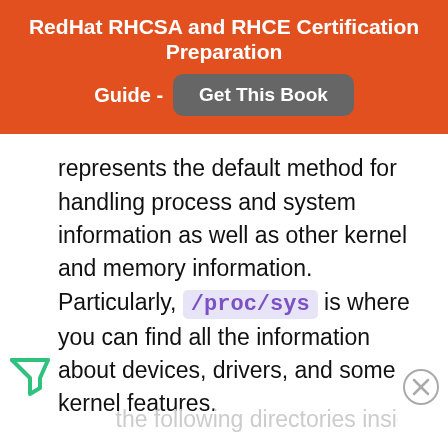RedHat RHCSA and RHCE Certification Preparation Guide - Get This Book
represents the default method for handling process and system information as well as other kernel and memory information. Particularly, /proc/sys is where you can find all the information about devices, drivers, and some kernel features.
The actual internal structure of /proc/sys depends heavily on the kernel being used, but you